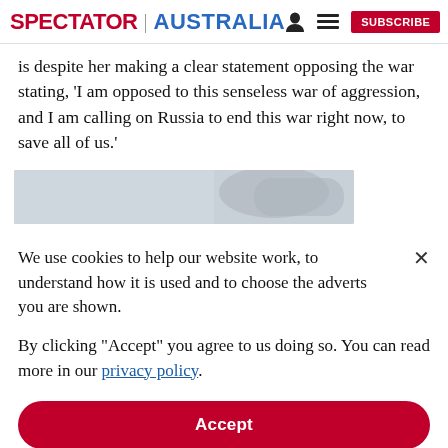SPECTATOR | AUSTRALIA
is despite her making a clear statement opposing the war stating, ‘I am opposed to this senseless war of aggression, and I am calling on Russia to end this war right now, to save all of us.’
[Figure (photo): Partially visible image strip, greyscale/muted tones]
We use cookies to help our website work, to understand how it is used and to choose the adverts you are shown.
By clicking "Accept" you agree to us doing so. You can read more in our privacy policy.
Accept